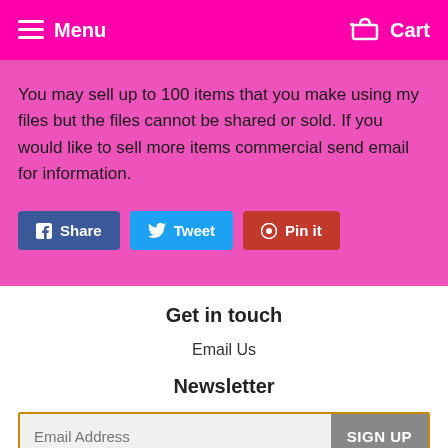Menu  Cart
You may sell up to 100 items that you make using my files but the files cannot be shared or sold. If you would like to sell more items commercial send email for information.
[Figure (other): Social share buttons: Share (Facebook, blue), Tweet (Twitter, light blue), Pin it (Pinterest, red)]
Get in touch
Email Us
Newsletter
Email Address  SIGN UP